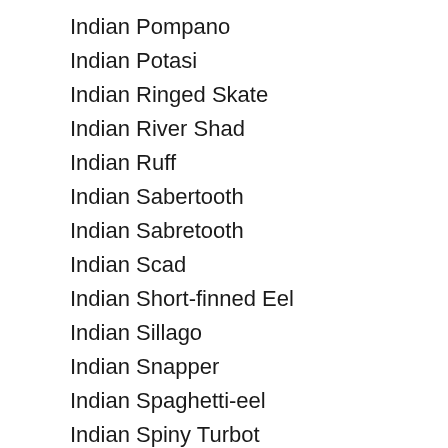Indian Pompano
Indian Potasi
Indian Ringed Skate
Indian River Shad
Indian Ruff
Indian Sabertooth
Indian Sabretooth
Indian Scad
Indian Short-finned Eel
Indian Sillago
Indian Snapper
Indian Spaghetti-eel
Indian Spiny Turbot
Indian Swellshark